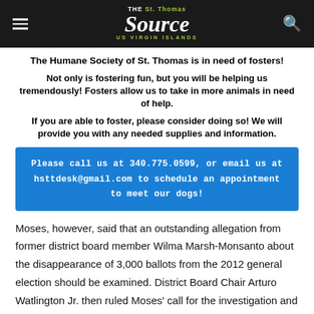THE St. Thomas Source US VIRGIN ISLANDS
The Humane Society of St. Thomas is in need of fosters!
Not only is fostering fun, but you will be helping us tremendously! Fosters allow us to take in more animals in need of help.
If you are able to foster, please consider doing so! We will provide you with any needed supplies and information.
Please call us at 340.775.0599, or email us at hsttdesk@gmail.com to schedule an appointment to meet our dogs!
Moses, however, said that an outstanding allegation from former district board member Wilma Marsh-Monsanto about the disappearance of 3,000 ballots from the 2012 general election should be examined. District Board Chair Arturo Watlington Jr. then ruled Moses' call for the investigation and arrest of the district's 2012 board out of order. Moses, along with member Diane Magras and Alecia Wells